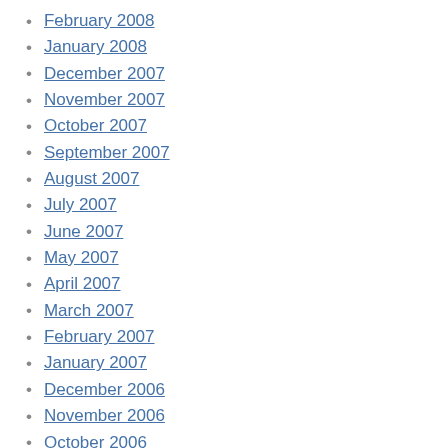February 2008
January 2008
December 2007
November 2007
October 2007
September 2007
August 2007
July 2007
June 2007
May 2007
April 2007
March 2007
February 2007
January 2007
December 2006
November 2006
October 2006